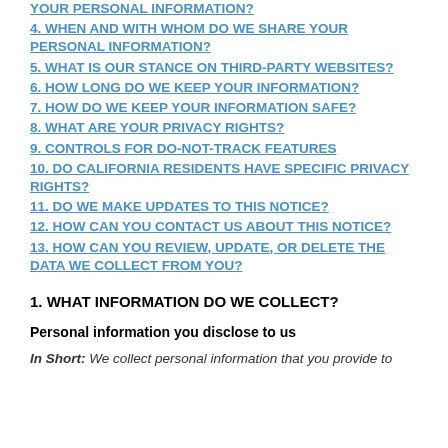YOUR PERSONAL INFORMATION?
4. WHEN AND WITH WHOM DO WE SHARE YOUR PERSONAL INFORMATION?
5. WHAT IS OUR STANCE ON THIRD-PARTY WEBSITES?
6. HOW LONG DO WE KEEP YOUR INFORMATION?
7. HOW DO WE KEEP YOUR INFORMATION SAFE?
8. WHAT ARE YOUR PRIVACY RIGHTS?
9. CONTROLS FOR DO-NOT-TRACK FEATURES
10. DO CALIFORNIA RESIDENTS HAVE SPECIFIC PRIVACY RIGHTS?
11. DO WE MAKE UPDATES TO THIS NOTICE?
12. HOW CAN YOU CONTACT US ABOUT THIS NOTICE?
13. HOW CAN YOU REVIEW, UPDATE, OR DELETE THE DATA WE COLLECT FROM YOU?
1. WHAT INFORMATION DO WE COLLECT?
Personal information you disclose to us
In Short: We collect personal information that you provide to